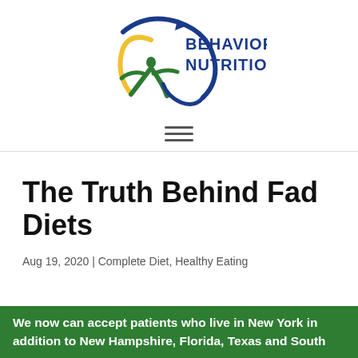[Figure (logo): Behavioral Nutrition logo with stylized figure and swoosh in green, blue, and yellow, with text 'BEHAVIORAL NUTRITION' in dark blue]
[Figure (other): Hamburger menu icon (three horizontal lines)]
The Truth Behind Fad Diets
Aug 19, 2020 | Complete Diet, Healthy Eating
We now can accept patients who live in New York in addition to New Hampshire, Florida, Texas and South